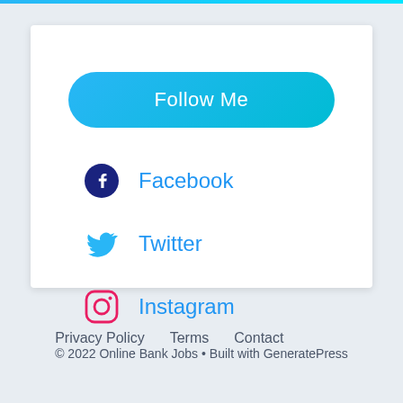[Figure (screenshot): Follow Me button - blue gradient rounded rectangle]
Facebook
Twitter
Instagram
Privacy Policy   Terms   Contact
© 2022 Online Bank Jobs • Built with GeneratePress